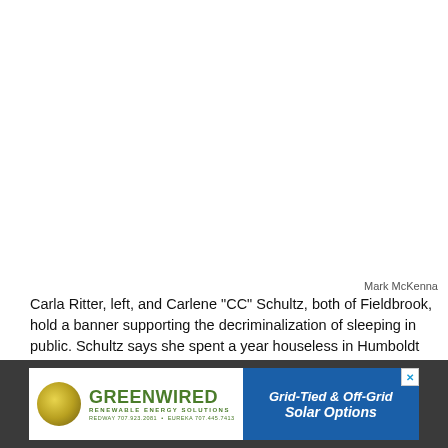[Figure (photo): White/blank space where a photo would appear showing Carla Ritter and Carlene 'CC' Schultz holding a banner]
Mark McKenna
Carla Ritter, left, and Carlene "CC" Schultz, both of Fieldbrook, hold a banner supporting the decriminalization of sleeping in public. Schultz says she spent a year houseless in Humboldt County before getting a home. She said she had also been a "street mom" for eight to 10 years helping kids on the street and others when she had an RV.
[Figure (other): GREENWIRED Renewable Energy Solutions advertisement banner. Grid-Tied & Off-Grid Solar Options. Contact: Redway 707.923.2081, Eureka 707.445.7413]